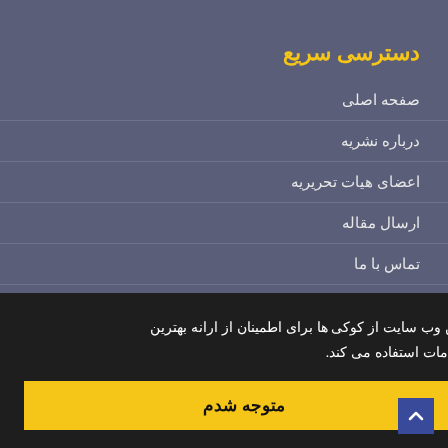دسترسی سریع
صفحه اصلی
درباره نشریه
اعضای هیات تحریریه
ارسال مقاله
تماس با ما
واژه نامه اختصاصی
این وب سایت از کوکی ها برای اطمینان از ارانه بهترین خدمات استفاده می کند.
متوجه شدم